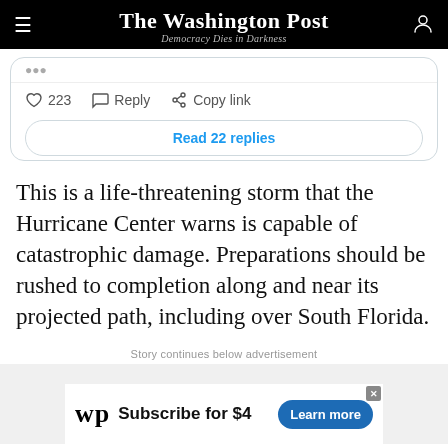The Washington Post — Democracy Dies in Darkness
[Figure (screenshot): Partial tweet card showing like count (223), Reply button, Copy link button, and a 'Read 22 replies' button]
This is a life-threatening storm that the Hurricane Center warns is capable of catastrophic damage. Preparations should be rushed to completion along and near its projected path, including over South Florida.
Story continues below advertisement
[Figure (screenshot): Washington Post advertisement banner: 'Subscribe for $4' with Learn more button]